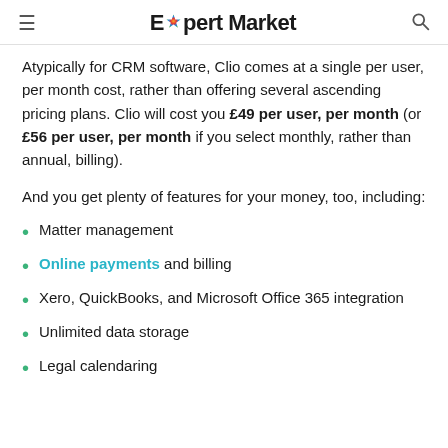Expert Market
Atypically for CRM software, Clio comes at a single per user, per month cost, rather than offering several ascending pricing plans. Clio will cost you £49 per user, per month (or £56 per user, per month if you select monthly, rather than annual, billing).
And you get plenty of features for your money, too, including:
Matter management
Online payments and billing
Xero, QuickBooks, and Microsoft Office 365 integration
Unlimited data storage
Legal calendaring